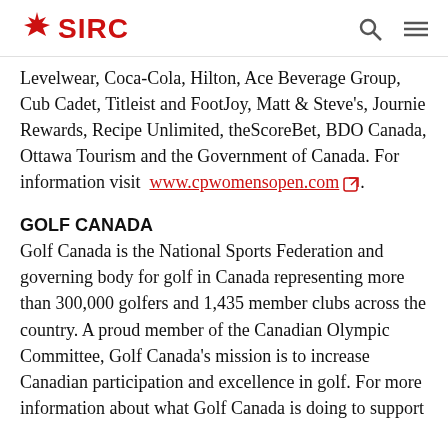SIRC
Levelwear, Coca-Cola, Hilton, Ace Beverage Group, Cub Cadet, Titleist and FootJoy, Matt & Steve's, Journie Rewards, Recipe Unlimited, theScoreBet, BDO Canada, Ottawa Tourism and the Government of Canada. For information visit www.cpwomensopen.com.
GOLF CANADA
Golf Canada is the National Sports Federation and governing body for golf in Canada representing more than 300,000 golfers and 1,435 member clubs across the country. A proud member of the Canadian Olympic Committee, Golf Canada's mission is to increase Canadian participation and excellence in golf. For more information about what Golf Canada is doing to support